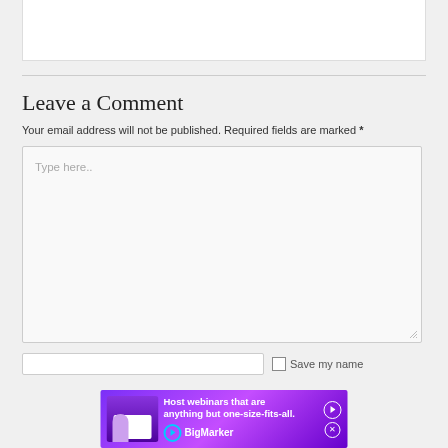Leave a Comment
Your email address will not be published. Required fields are marked *
Type here..
[Figure (screenshot): BigMarker ad banner: Host webinars that are anything but one-size-fits-all.]